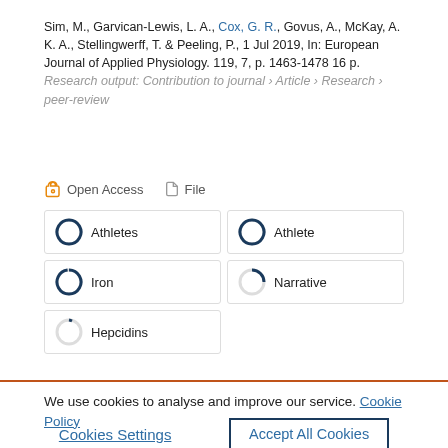Sim, M., Garvican-Lewis, L. A., Cox, G. R., Govus, A., McKay, A. K. A., Stellingwerff, T. & Peeling, P., 1 Jul 2019, In: European Journal of Applied Physiology. 119, 7, p. 1463-1478 16 p. Research output: Contribution to journal › Article › Research › peer-review
Open Access   File
Athletes | Athlete | Iron | Narrative | Hepcidins
We use cookies to analyse and improve our service. Cookie Policy
Cookies Settings   Accept All Cookies